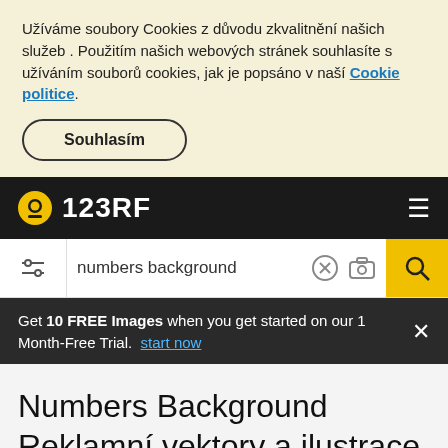Užíváme soubory Cookies z důvodu zkvalitnění našich služeb . Použitím našich webových stránek souhlasíte s užíváním souborů cookies, jak je popsáno v naší Cookie politice.
Souhlasím
[Figure (logo): 123RF logo with camera icon on black navigation bar]
[Figure (screenshot): Search bar with filter icon, text 'numbers background', clear and camera icons, and yellow search button]
Get 10 FREE Images when you get started on our 1 Month-Free Trial. start now
Numbers Background Reklamní vektory a ilustrace
Tematické klíčové slovo